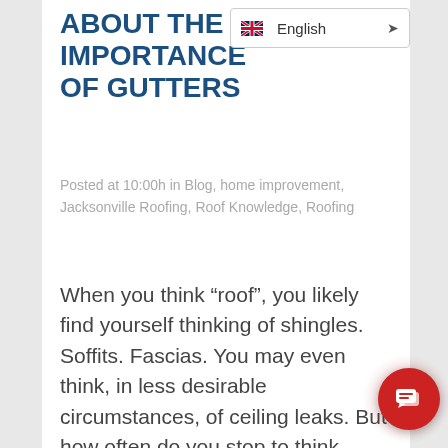ABOUT THE IMPORTANCE OF GUTTERS
Posted at 10:00h in Blog, home improvement, Jacksonville Roofing, Roof Knowledge, Roofing
When you think “roof”, you likely find yourself thinking of shingles. Soffits. Fascias. You may even think, in less desirable circumstances, of ceiling leaks. But how often do you stop to think about the matter of gutters? An integral part of your overall